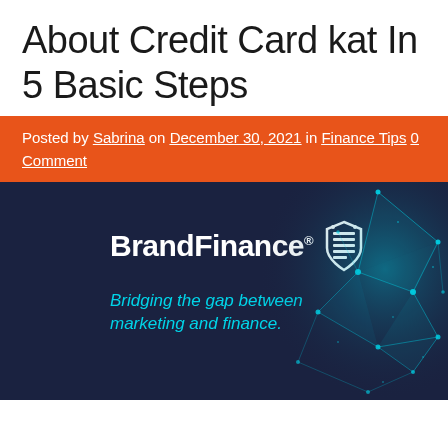About Credit Card kat In 5 Basic Steps
Posted by Sabrina on December 30, 2021 in Finance Tips 0 Comment
[Figure (photo): Brand Finance promotional image with dark navy background, Brand Finance logo with shield icon, tagline 'Bridging the gap between marketing and finance.' and a cyan digital network graphic on the right side.]